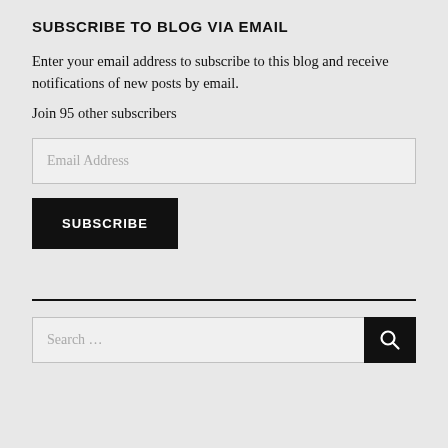SUBSCRIBE TO BLOG VIA EMAIL
Enter your email address to subscribe to this blog and receive notifications of new posts by email.
Join 95 other subscribers
[Figure (screenshot): Email Address input field (text box with placeholder 'Email Address')]
[Figure (screenshot): SUBSCRIBE button (black button with white uppercase text)]
[Figure (screenshot): Search bar with placeholder 'Search ...' and a black search icon button on the right]